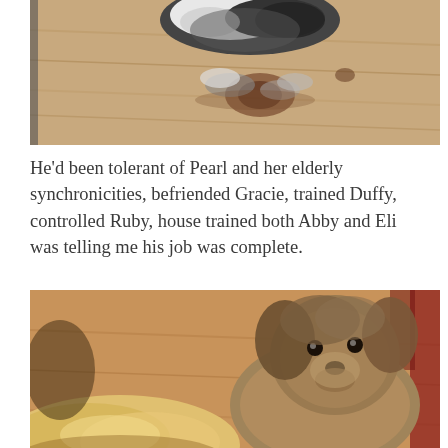[Figure (photo): Partial view of a small black and white fluffy dog lying on a light wood floor, photo cropped at top and sides]
He'd been tolerant of Pearl and her elderly synchronicities, befriended Gracie, trained Duffy, controlled Ruby, house trained both Abby and Eli was telling me his job was complete.
[Figure (photo): A small fluffy tan/brown dog looking at the camera on a hardwood floor, with another lighter-colored dog in the foreground]